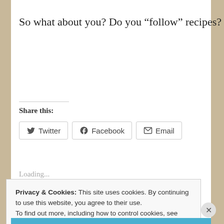So what about you?  Do you “follow” recipes?
Share this:
Twitter  Facebook  Email
Loading...
Privacy & Cookies: This site uses cookies. By continuing to use this website, you agree to their use.
To find out more, including how to control cookies, see here: Cookie Policy
Close and accept